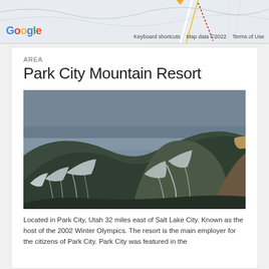[Figure (screenshot): Google Maps screenshot showing a map area with roads and terrain. Google logo visible at bottom left. Footer shows: Keyboard shortcuts, Map data ©2022, Terms of Use.]
Keyboard shortcuts   Map data ©2022   Terms of Use
AREA
Park City Mountain Resort
[Figure (photo): Aerial/distant photograph of Park City Mountain Resort showing snow-covered mountain slopes with ski runs visible against a grey overcast sky. The mountain is partially snow-covered with exposed brown terrain.]
Located in Park City, Utah 32 miles east of Salt Lake City. Known as the host of the 2002 Winter Olympics. The resort is the main employer for the citizens of Park City. Park City was featured in the